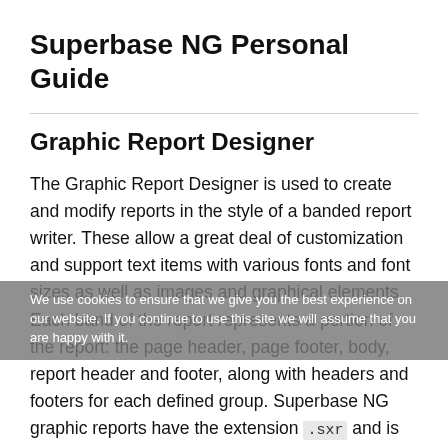Superbase NG Personal Guide
Graphic Report Designer
The Graphic Report Designer is used to create and modify reports in the style of a banded report writer. These allow a great deal of customization and support text items with various fonts and font sizes as well as images and graphical elements. Each band of the report represents a portion of the report: the page header, page footer, body, report header and footer, along with headers and footers for each defined group. Superbase NG graphic reports have the extension .sxr and is stored in XML. Essentially, a graphic report contains a print form together with a report
We use cookies to ensure that we give you the best experience on our website. If you continue to use this site we will assume that you are happy with it.